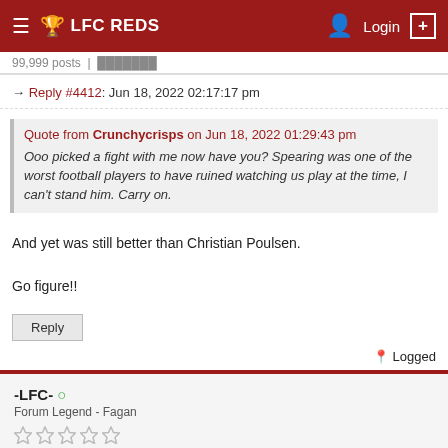LFC REDS — Login
→ Reply #4412: Jun 18, 2022 02:17:17 pm
Quote from Crunchycrisps on Jun 18, 2022 01:29:43 pm
Ooo picked a fight with me now have you? Spearing was one of the worst football players to have ruined watching us play at the time, I can't stand him. Carry on.
And yet was still better than Christian Poulsen.

Go figure!!
Reply
Logged
-LFC- ○
Forum Legend - Fagan
★★★★★